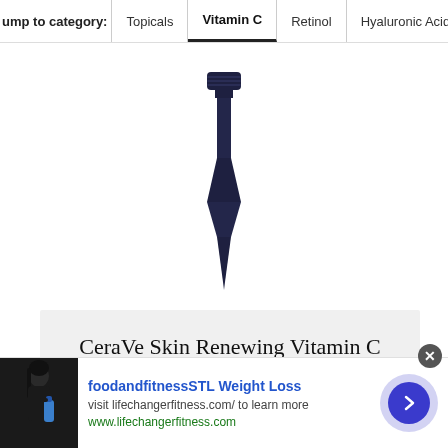Jump to category: Topicals | Vitamin C | Retinol | Hyaluronic Acid
[Figure (photo): A dark navy/black serum dropper bottle shown from above, with the dropper tip pointing downward, against a white background]
CeraVe Skin Renewing Vitamin C Serum
$18.87 at amazon.com
[Figure (photo): Advertisement banner: person holding a blue water bottle, with text 'foodandfitnessSTL Weight Loss', 'visit lifechanger fitness.com/ to learn more', 'www.lifechangerfitness.com', and a blue arrow button]